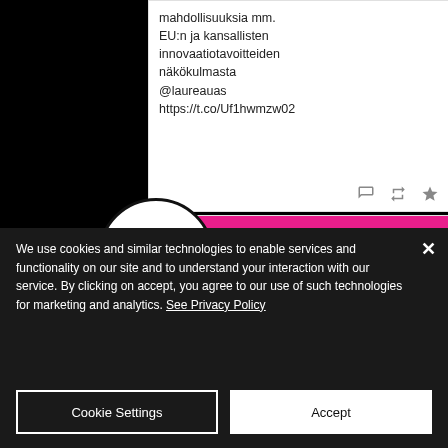[Figure (screenshot): Social media tweet screenshot showing Finnish text about EU and national innovation goals with @laureauas handle and a URL https://t.co/Uf1hwmzw02, with reply, retweet, and star action icons below.]
[Figure (screenshot): Second social media tweet screenshot from @CcoLaurea dated Fri Sep 24 2021, with CCO (Co-creation Coral alliance) circular logo overlapping the card. Tweet text begins: What is the role of Higher Education Institutions in Finnish social & health]
We use cookies and similar technologies to enable services and functionality on our site and to understand your interaction with our service. By clicking on accept, you agree to our use of such technologies for marketing and analytics. See Privacy Policy
Cookie Settings
Accept